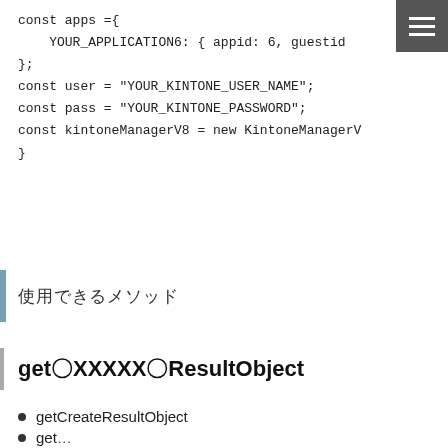[Figure (other): Hamburger menu icon button (dark grey background, three white horizontal lines)]
const apps ={
    YOUR_APPLICATION6: { appid: 6, guestid
};
const user = "YOUR_KINTONE_USER_NAME";
const pass = "YOUR_KINTONE_PASSWORD";
const kintoneManagerV8 = new KintoneManagerV
}
使用できるメソッド
get〇XXXXX〇ResultObject
getCreateResultObject
getCreateResultObject